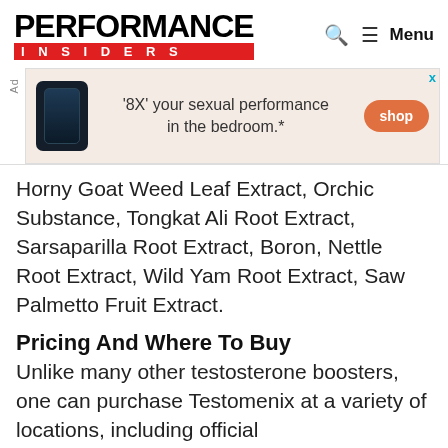PERFORMANCE INSIDERS — Menu
[Figure (infographic): Advertisement banner for a supplement product: dark bottle on left, text ''8X' your sexual performance in the bedroom.*' and orange 'shop' button on right, on a light pink/beige background. 'Ad' label on the left side. 'x' close button top right.]
Horny Goat Weed Leaf Extract, Orchic Substance, Tongkat Ali Root Extract, Sarsaparilla Root Extract, Boron, Nettle Root Extract, Wild Yam Root Extract, Saw Palmetto Fruit Extract.
Pricing And Where To Buy
Unlike many other testosterone boosters, one can purchase Testomenix at a variety of locations, including official stores